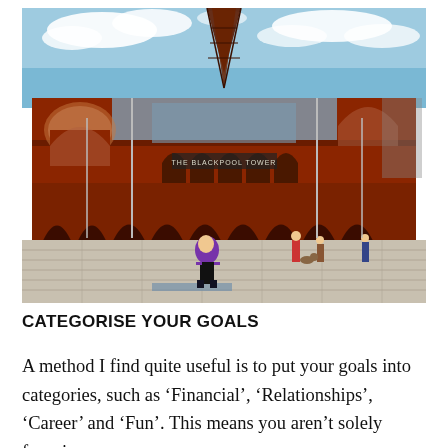[Figure (photo): A person in a purple jacket posing in front of The Blackpool Tower, a large red-brick Victorian building with ornate arches. A tall latticed tower rises above the building. Other people and a dog are visible on the patterned plaza in front.]
CATEGORISE YOUR GOALS
A method I find quite useful is to put your goals into categories, such as 'Financial', 'Relationships', 'Career' and 'Fun'. This means you aren't solely focusing on